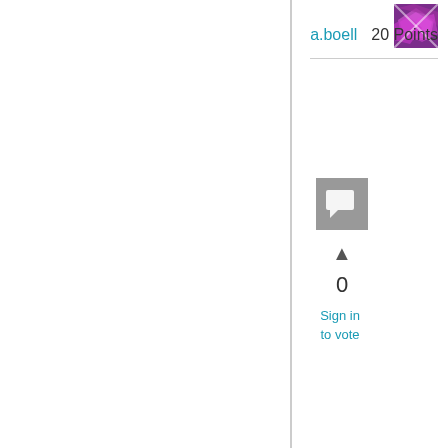[Figure (illustration): User avatar thumbnail with colorful geometric pattern]
a.boell   20 Points
0
Sign in to vote
Nothing is actually "routed" through the secondary site. ConfigMgr clients communicate with site roles at secondary sites like the MP, but this is only for ConfigMgr traffic so the only possible effect of a secondary site being down is to ConfigMgr functionality. Also, ConfigMgr clients in no way have a persistent connection with site